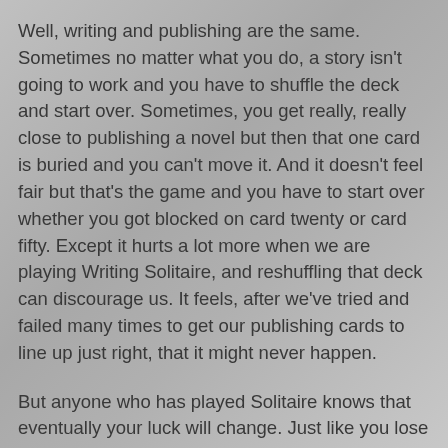Well, writing and publishing are the same. Sometimes no matter what you do, a story isn't going to work and you have to shuffle the deck and start over. Sometimes, you get really, really close to publishing a novel but then that one card is buried and you can't move it. And it doesn't feel fair but that's the game and you have to start over whether you got blocked on card twenty or card fifty. Except it hurts a lot more when we are playing Writing Solitaire, and reshuffling that deck can discourage us. It feels, after we've tried and failed many times to get our publishing cards to line up just right, that it might never happen.
But anyone who has played Solitaire knows that eventually your luck will change. Just like you lose against the chances in the deck, sometimes you can win, too. And it's those wins that keep you playing, that keep you thinking, "Okay, just one more game."
You just need the courage and determination to keep shuffling the deck.